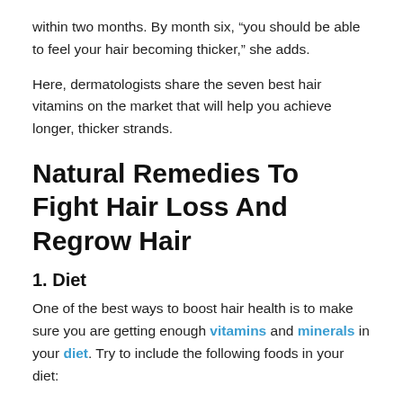within two months. By month six, “you should be able to feel your hair becoming thicker,” she adds.
Here, dermatologists share the seven best hair vitamins on the market that will help you achieve longer, thicker strands.
Natural Remedies To Fight Hair Loss And Regrow Hair
1. Diet
One of the best ways to boost hair health is to make sure you are getting enough vitamins and minerals in your diet. Try to include the following foods in your diet:
Fresh fruits and vegetables
High protein foods